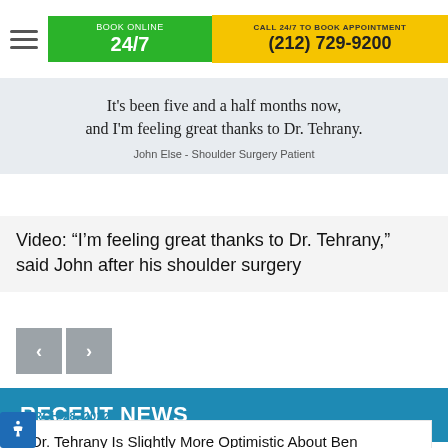BOOK ONLINE 24/7 | CALL 24/7 TO BOOK APPOINTMENT (212) 729-9200
It's been five and a half months now, and I'm feeling great thanks to Dr. Tehrany.
John Else - Shoulder Surgery Patient
Video: “I’m feeling great thanks to Dr. Tehrany,” said John after his shoulder surgery
RECENT NEWS
MARCH 28, 2022
Dr. Tehrany Is Slightly More Optimistic About Ben Simmons’ Injury